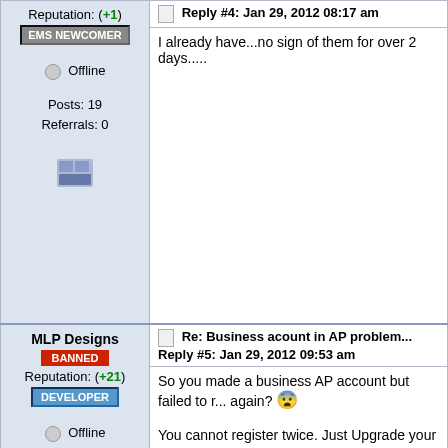Reputation: (+1)
EMS NEWCOMER
Offline
Posts: 19
Referrals: 0
Reply #4: Jan 29, 2012 08:17 am
I already have...no sign of them for over 2 days.....
MLP Designs
BANNED
Reputation: (+21)
DEVELOPER
Offline
Posts: 1278
Referrals: 0
[Figure (illustration): MLP Designs teal banner with yellow italic text 'mlp DESIGNS' and white text 'PROVIDING QUALITY SERVICES']
Cheap Product = Cheap Quality
Re: Business acount in AP problem...
Reply #5: Jan 29, 2012 09:53 am
So you made a business AP account but failed to register again?
You cannot register twice. Just Upgrade your curre...
Send me a mail of you want to order designs at rensgb...
Zaike0
Re: Business acount in AP problem...